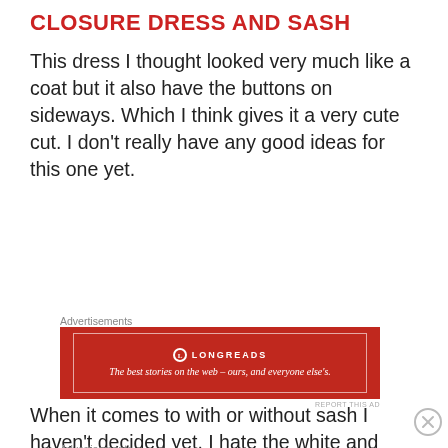CLOSURE DRESS AND SASH
This dress I thought looked very much like a coat but it also have the buttons on sideways. Which I think gives it a very cute cut. I don't really have any good ideas for this one yet.
Advertisements
[Figure (other): Longreads advertisement banner in dark red. Shows Longreads logo and tagline: The best stories on the web – ours, and everyone else's.]
REPORT THIS AD
When it comes to with or without sash I haven't decided yet. I hate the white and
Advertisements
[Figure (other): DuckDuckGo advertisement. Text: Search, browse, and email with more privacy. All in One Free App. DuckDuckGo logo on right.]